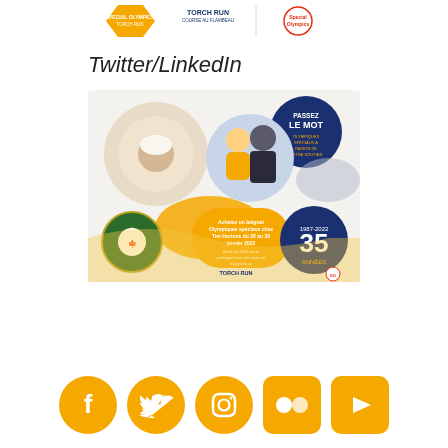[Figure (infographic): Top banner showing Torch Run / Course au Flambeau logo and Special Olympics logo]
Twitter/LinkedIn
[Figure (infographic): French-language social media promotional image for Special Olympics Tim Hortons donut fundraiser, January 28-30 2022, featuring a donut, police officer with athlete, police badge, '35 Années 1987-2022' badge, 'PASSEZ LE MOT' callout, and Torch Run/Special Olympics logos]
[Figure (infographic): Row of five social media icons: Facebook, Twitter, Instagram, Flickr, YouTube — all in golden yellow]